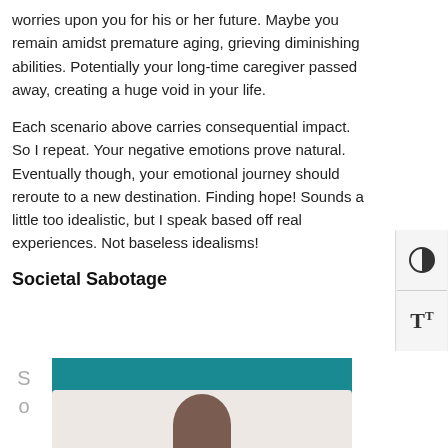worries upon you for his or her future. Maybe you remain amidst premature aging, grieving diminishing abilities. Potentially your long-time caregiver passed away, creating a huge void in your life.
Each scenario above carries consequential impact. So I repeat. Your negative emotions prove natural. Eventually though, your emotional journey should reroute to a new destination. Finding hope! Sounds a little too idealistic, but I speak based off real experiences. Not baseless idealisms!
Societal Sabotage
[Figure (photo): Teal/dark cyan background with a partial portrait photo of a person visible at the bottom, with drop cap letters S and o on the left side]